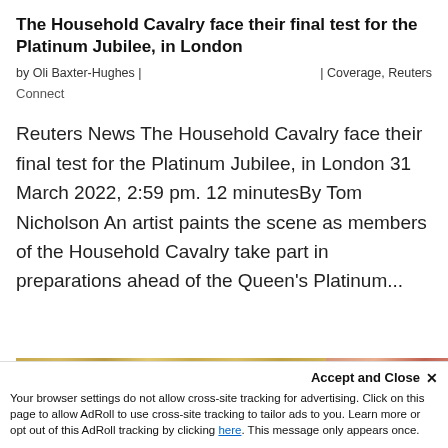The Household Cavalry face their final test for the Platinum Jubilee, in London
by Oli Baxter-Hughes |                    | Coverage, Reuters
Connect
Reuters News The Household Cavalry face their final test for the Platinum Jubilee, in London 31 March 2022, 2:59 pm. 12 minutesBy Tom Nicholson An artist paints the scene as members of the Household Cavalry take part in preparations ahead of the Queen's Platinum...
[Figure (photo): Partial view of an ornate decorative surface with gold and floral patterns, partially cut off at bottom of page]
Accept and Close ✕
Your browser settings do not allow cross-site tracking for advertising. Click on this page to allow AdRoll to use cross-site tracking to tailor ads to you. Learn more or opt out of this AdRoll tracking by clicking here. This message only appears once.